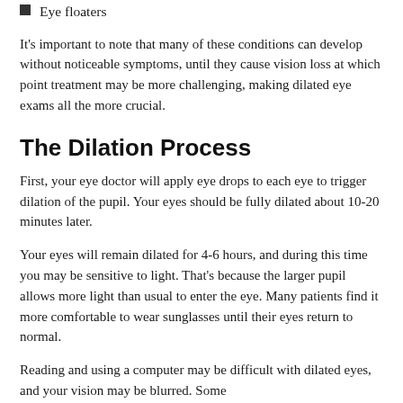Eye floaters
It's important to note that many of these conditions can develop without noticeable symptoms, until they cause vision loss at which point treatment may be more challenging, making dilated eye exams all the more crucial.
The Dilation Process
First, your eye doctor will apply eye drops to each eye to trigger dilation of the pupil. Your eyes should be fully dilated about 10-20 minutes later.
Your eyes will remain dilated for 4-6 hours, and during this time you may be sensitive to light. That's because the larger pupil allows more light than usual to enter the eye. Many patients find it more comfortable to wear sunglasses until their eyes return to normal.
Reading and using a computer may be difficult with dilated eyes, and your vision may be blurred. Some